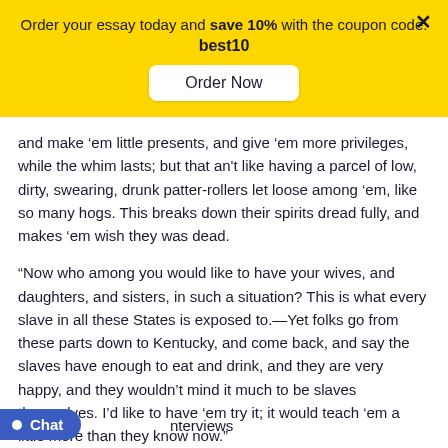Order your essay today and save 10% with the coupon code: best10
and make 'em little presents, and give 'em more privileges, while the whim lasts; but that an't like having a parcel of low, dirty, swearing, drunk patter-rollers let loose among 'em, like so many hogs. This breaks down their spirits dread fully, and makes 'em wish they was dead.
“Now who among you would like to have your wives, and daughters, and sisters, in such a situation? This is what every slave in all these States is exposed to.—Yet folks go from these parts down to Kentucky, and come back, and say the slaves have enough to eat and drink, and they are very happy, and they wouldn't mind it much to be slaves themselves. I’d like to have 'em try it; it would teach 'em a little more than they know now.”
nterviews